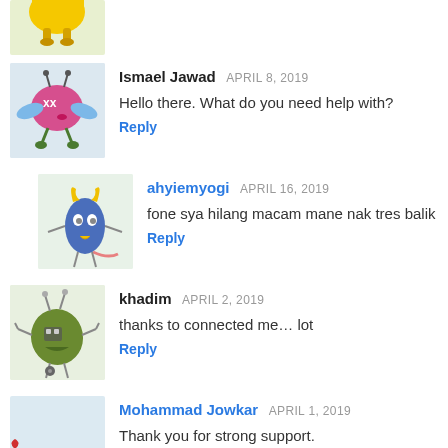[Figure (illustration): Partial avatar of a cartoon yellow monster at top of page]
[Figure (illustration): Avatar of a pink cartoon monster with wings and XX eyes on light blue background]
Ismael Jawad APRIL 8, 2019
Hello there. What do you need help with?
Reply
[Figure (illustration): Avatar of a blue oval cartoon monster with yellow horns on light green background]
ahyiemyogi APRIL 16, 2019
fone sya hilang macam mane nak tres balik
Reply
[Figure (illustration): Avatar of a green cartoon robot-like monster on light green background]
khadim APRIL 2, 2019
thanks to connected me... lot
Reply
[Figure (illustration): Partial avatar of a cartoon lobster-like creature on light blue background]
Mohammad Jowkar APRIL 1, 2019
Thank you for strong support.